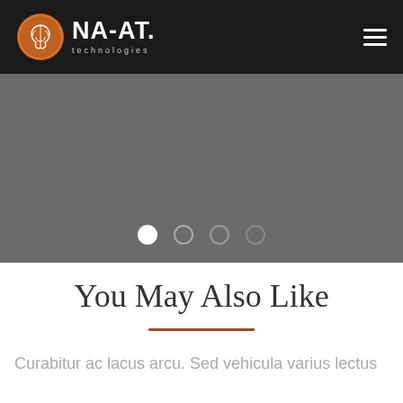NA-AT technologies
[Figure (screenshot): Website screenshot showing NA-AT Technologies logo in dark header navbar with hamburger menu icon on the right, a grey slider/carousel area with 4 navigation dots (first dot active/white, remaining 3 inactive/grey outlines)]
You May Also Like
Curabitur ac lacus arcu. Sed vehicula varius lectus